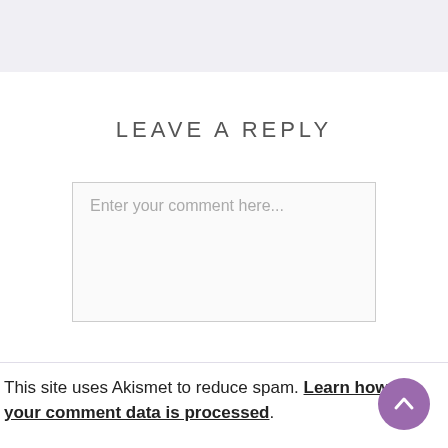LEAVE A REPLY
Enter your comment here...
This site uses Akismet to reduce spam. Learn how your comment data is processed.
[Figure (other): Back to top button - circular purple button with upward chevron arrow]